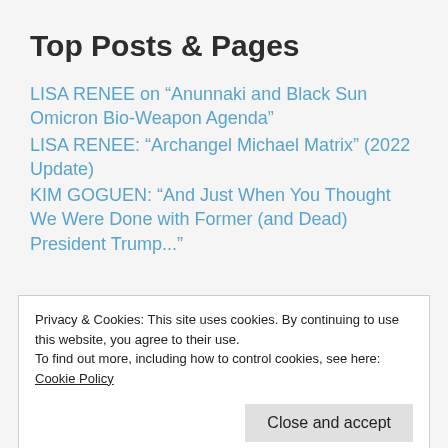Top Posts & Pages
LISA RENEE on “Anunnaki and Black Sun Omicron Bio-Weapon Agenda”
LISA RENEE: “Archangel Michael Matrix” (2022 Update)
KIM GOGUEN: “And Just When You Thought We Were Done with Former (and Dead) President Trump...”
Privacy & Cookies: This site uses cookies. By continuing to use this website, you agree to their use.
To find out more, including how to control cookies, see here: Cookie Policy
LISA RENEE: "Liberation of Pegasus"